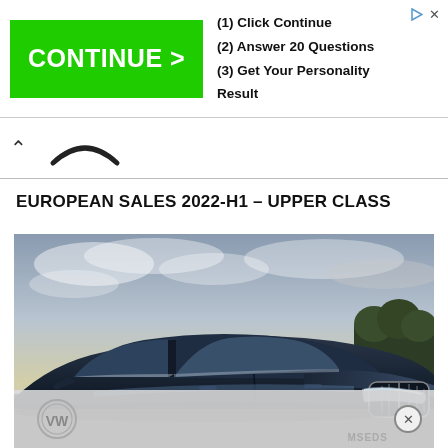[Figure (screenshot): Advertisement banner: green CONTINUE > button on left, text on right: (1) Click Continue, (2) Answer 20 Questions, (3) Get Your Personality Result. Small play and X icons top right.]
[Figure (screenshot): Navigation bar with up-caret arrow and partial smiley face / brand logo]
EUROPEAN SALES 2022-H1 – UPPER CLASS
[Figure (photo): Close-up photo of a dark blue BMW sedan with kidney grille, with cloudy dramatic sky background and trees. Bottom portion overlaid by a faded Volkswagen logo ad.]